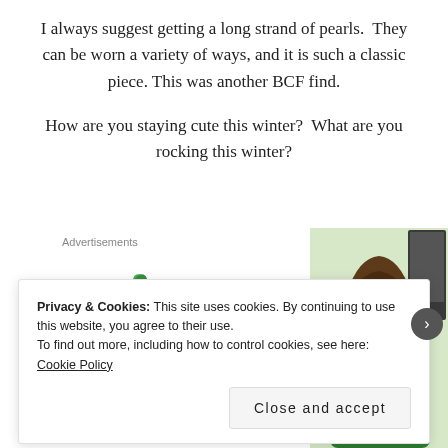I always suggest getting a long strand of pearls. They can be worn a variety of ways, and it is such a classic piece. This was another BCF find.
How are you staying cute this winter? What are you rocking this winter?
Advertisements
[Figure (screenshot): Parse.ly advertisement with logo (green leaf icon and 'Parse.ly' text), a dashboard screenshot showing a green line chart, and a woman in a green shirt smiling. The word 'Content' is visible in bold at the bottom.]
Privacy & Cookies: This site uses cookies. By continuing to use this website, you agree to their use.
To find out more, including how to control cookies, see here: Cookie Policy
Close and accept